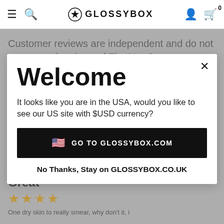GLOSSYBOX
Customer reviews are independent and do not represent the views of The Hut Group.
Welcome
It looks like you are in the USA, would you like to see our US site with $USD currency?
GO TO GLOSSYBOX.COM
No Thanks, Stay on GLOSSYBOX.CO.UK
Great
★★★★